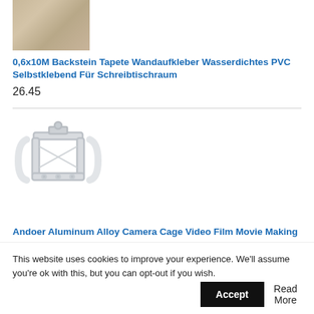[Figure (photo): Product image of brick wall tape wallpaper, showing a reddish-brown brick pattern]
0,6x10M Backstein Tapete Wandaufkleber Wasserdichtes PVC Selbstklebend Für Schreibtischraum
26.45
[Figure (photo): Product image of Andoer Aluminum Alloy Camera Cage, shown in light gray/white color against white background]
Andoer Aluminum Alloy Camera Cage Video Film Movie Making Stabilizer with Cold Shoe Mount for Sony A7/ A7R/ A7S Camera
54.63 $
This website uses cookies to improve your experience. We'll assume you're ok with this, but you can opt-out if you wish.
Accept
Read More